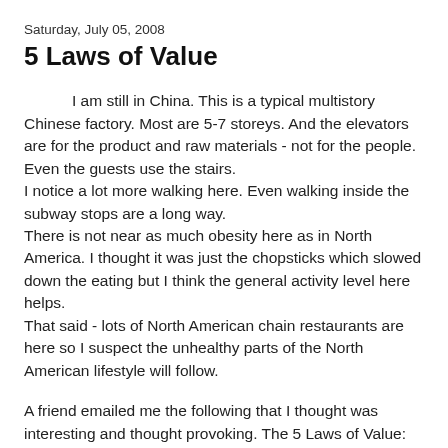Saturday, July 05, 2008
5 Laws of Value
I am still in China. This is a typical multistory Chinese factory. Most are 5-7 storeys. And the elevators are for the product and raw materials - not for the people. Even the guests use the stairs.
I notice a lot more walking here. Even walking inside the subway stops are a long way.
There is not near as much obesity here as in North America. I thought it was just the chopsticks which slowed down the eating but I think the general activity level here helps.
That said - lots of North American chain restaurants are here so I suspect the unhealthy parts of the North American lifestyle will follow.
A friend emailed me the following that I thought was interesting and thought provoking. The 5 Laws of Value: